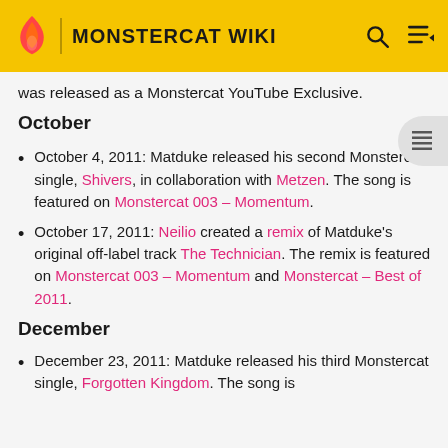MONSTERCAT WIKI
was released as a Monstercat YouTube Exclusive.
October
October 4, 2011: Matduke released his second Monstercat single, Shivers, in collaboration with Metzen. The song is featured on Monstercat 003 - Momentum.
October 17, 2011: Neilio created a remix of Matduke's original off-label track The Technician. The remix is featured on Monstercat 003 - Momentum and Monstercat - Best of 2011.
December
December 23, 2011: Matduke released his third Monstercat single, Forgotten Kingdom. The song is